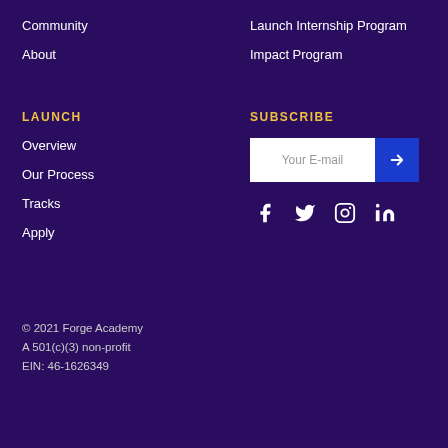Community
About
Launch Internship Program
Impact Program
LAUNCH
SUBSCRIBE
Overview
Our Process
Tracks
Apply
[Figure (other): Email subscription input box with Your E-mail placeholder and blue submit arrow button]
[Figure (other): Social media icons: Facebook, Twitter, Instagram, LinkedIn]
© 2021 Forge Academy
A 501(c)(3) non-profit
EIN: 46-1626349